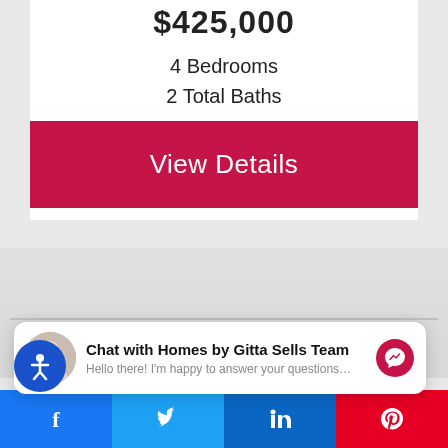$425,000
4 Bedrooms
2 Total Baths
View Details
Share This
Chat with Homes by Gitta Sells Team
Hello there! I'm happy to answer your questions…